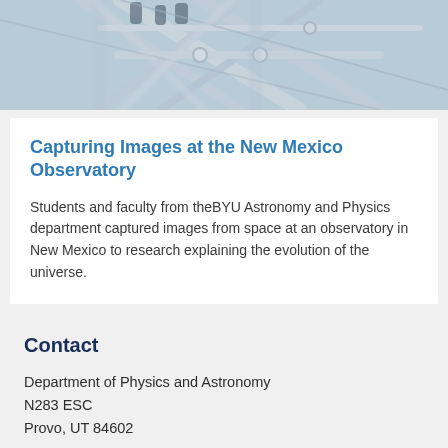[Figure (photo): Photo of students and faculty at a telescope observatory structure, showing metal scaffolding/framework of a telescope dome or platform with people visible in background.]
Capturing Images at the New Mexico Observatory
Students and faculty from theBYU Astronomy and Physics department captured images from space at an observatory in New Mexico to research explaining the evolution of the universe.
Contact
Department of Physics and Astronomy
N283 ESC
Provo, UT 84602
physics_office@byu.edu
801-422-4361